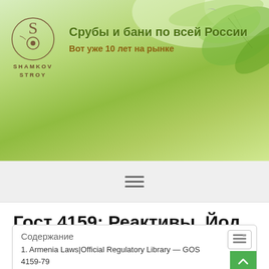[Figure (logo): Shamkov Stroy company logo with circular emblem and text, green leaf background banner with tagline 'Срубы и бани по всей России' and 'Вот уже 10 лет на рынке']
Срубы и бани по всей России
Вот уже 10 лет на рынке
Гост 4159: Реактивы. Йод. Технические условия – РТС-тендер
Содержание
1. Armenia Laws|Official Regulatory Library — GOST 4159-79